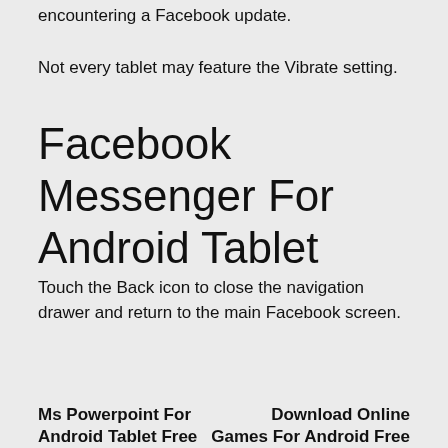encountering a Facebook update.
Not every tablet may feature the Vibrate setting.
Facebook Messenger For Android Tablet
Touch the Back icon to close the navigation drawer and return to the main Facebook screen.
Ms Powerpoint For Android Tablet Free
Download Online Games For Android Free